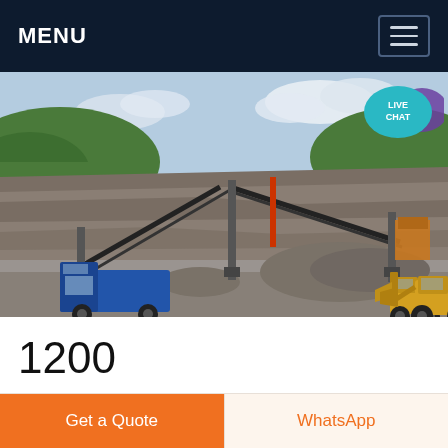MENU
[Figure (photo): Mining/quarry site showing a blue dump truck and a yellow wheel loader at the base of a rocky hillside with conveyor belts and equipment. Sky with clouds visible in the background.]
1200
Get a Quote
WhatsApp